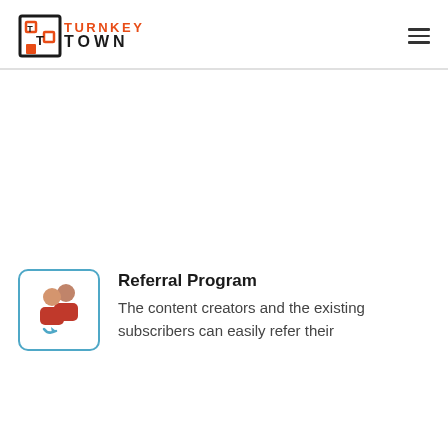TURNKEY TOWN
[Figure (logo): Referral program icon: two people with an arrow between them, in a rounded square border]
Referral Program
The content creators and the existing subscribers can easily refer their